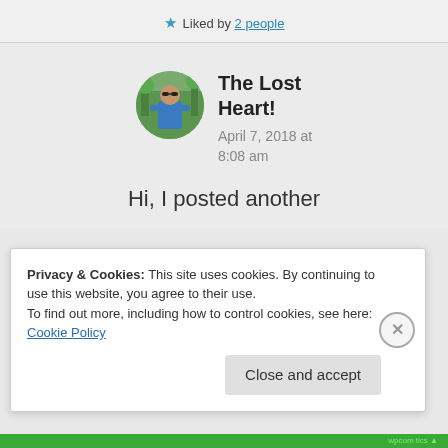★ Liked by 2 people
[Figure (photo): Circular avatar photo of a person wearing sunglasses and a blue tank top, outdoors in a natural setting]
The Lost Heart!
April 7, 2018 at 8:08 am
Hi, I posted another
Privacy & Cookies: This site uses cookies. By continuing to use this website, you agree to their use.
To find out more, including how to control cookies, see here: Cookie Policy
Close and accept